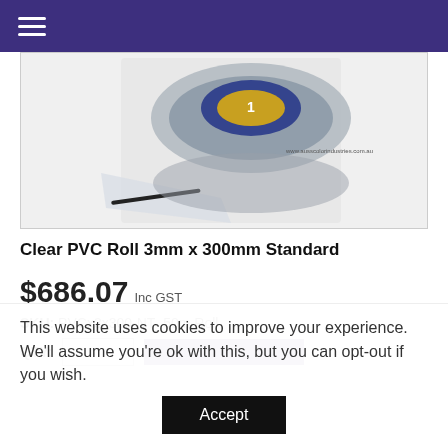Navigation menu (hamburger icon)
[Figure (photo): Clear PVC Roll product photo showing a roll of transparent PVC strip material on a white background. A blue and gold label is visible on top, with a website URL partially readable.]
Clear PVC Roll 3mm x 300mm Standard
$686.07 Inc GST
SKU:  PVCx3x300-NT_50m Roll
QTY:
This website uses cookies to improve your experience. We'll assume you're ok with this, but you can opt-out if you wish.
Accept